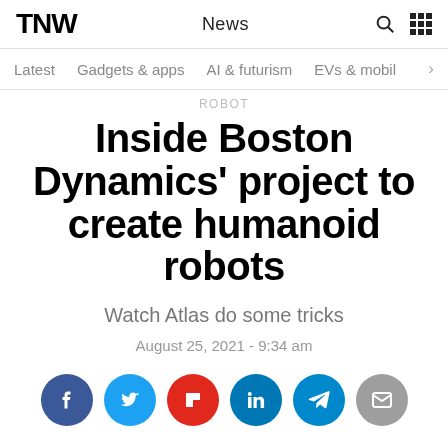TNW | News
Latest   Gadgets & apps   AI & futurism   EVs & mobil >
ROBOT
Inside Boston Dynamics' project to create humanoid robots
Watch Atlas do some tricks
August 25, 2021 - 9:34 am
[Figure (other): Social sharing buttons: Facebook, Twitter, Flipboard, LinkedIn, Telegram, Email]